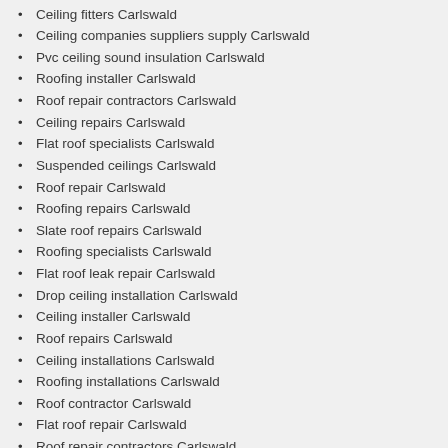Ceiling fitters Carlswald
Ceiling companies suppliers supply Carlswald
Pvc ceiling sound insulation Carlswald
Roofing installer Carlswald
Roof repair contractors Carlswald
Ceiling repairs Carlswald
Flat roof specialists Carlswald
Suspended ceilings Carlswald
Roof repair Carlswald
Roofing repairs Carlswald
Slate roof repairs Carlswald
Roofing specialists Carlswald
Flat roof leak repair Carlswald
Drop ceiling installation Carlswald
Ceiling installer Carlswald
Roof repairs Carlswald
Ceiling installations Carlswald
Roofing installations Carlswald
Roof contractor Carlswald
Flat roof repair Carlswald
Roof repair contractors Carlswald
Ceiling insulation Carlswald
Wood ceiling Carlswald
Roof repairs company Carlswald
Flat roof repairs Carlswald
Ceiling contractors Carlswald
Roofing contractor Carlswald